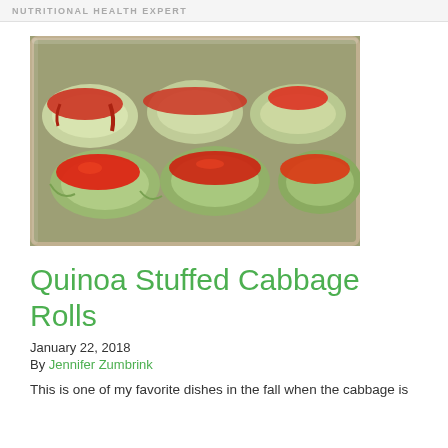NUTRITIONAL HEALTH EXPERT
[Figure (photo): Cabbage rolls stuffed with quinoa in a glass baking dish, topped with red tomato sauce]
Quinoa Stuffed Cabbage Rolls
January 22, 2018
By Jennifer Zumbrink
This is one of my favorite dishes in the fall when the cabbage is